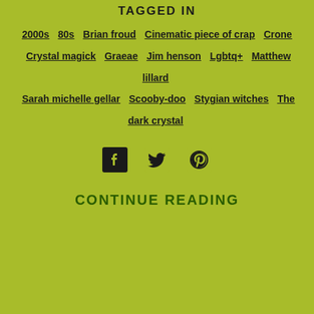TAGGED IN
2000s
80s
Brian froud
Cinematic piece of crap
Crone
Crystal magick
Graeae
Jim henson
Lgbtq+
Matthew lillard
Sarah michelle gellar
Scooby-doo
Stygian witches
The dark crystal
[Figure (infographic): Social media icons: Facebook, Twitter, Pinterest]
CONTINUE READING